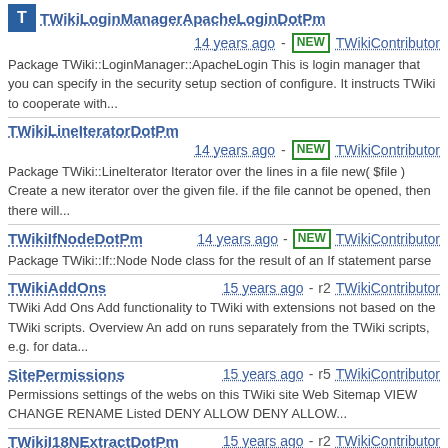TWikiLoginManagerApacheLoginDotPm 14 years ago - NEW TWikiContributor Package TWiki::LoginManager::ApacheLogin This is login manager that you can specify in the security setup section of configure. It instructs TWiki to cooperate with...
TWikiLineIteratorDotPm 14 years ago - NEW TWikiContributor Package TWiki::LineIterator Iterator over the lines in a file new( $file ) Create a new iterator over the given file. if the file cannot be opened, then there will...
TWikiIfNodeDotPm 14 years ago - NEW TWikiContributor Package TWiki::If::Node Node class for the result of an If statement parse
TWikiAddOns 15 years ago - r2 TWikiContributor TWiki Add Ons Add functionality to TWiki with extensions not based on the TWiki scripts. Overview An add on runs separately from the TWiki scripts, e.g. for data...
SitePermissions 15 years ago - r5 TWikiContributor Permissions settings of the webs on this TWiki site Web Sitemap VIEW CHANGE RENAME Listed DENY ALLOW DENY ALLOW...
TWikiI18NExtractDotPm 15 years ago - r2 TWikiContributor